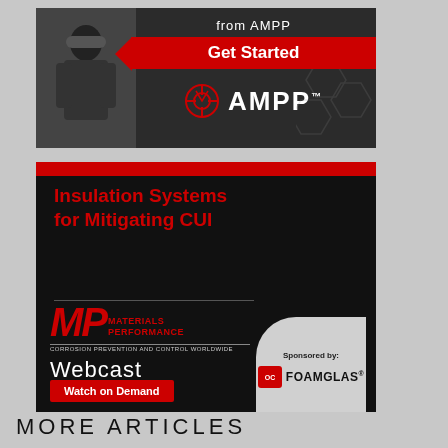[Figure (illustration): AMPP advertisement banner with 'from AMPP', 'Get Started' red button, AMPP logo with icon on dark background]
[Figure (illustration): Materials Performance Webcast advertisement: 'Insulation Systems for Mitigating CUI', MP logo, 'Webcast Watch on Demand' button, sponsored by Owens Corning FOAMGLAS, dark background with red accents]
MORE ARTICLES